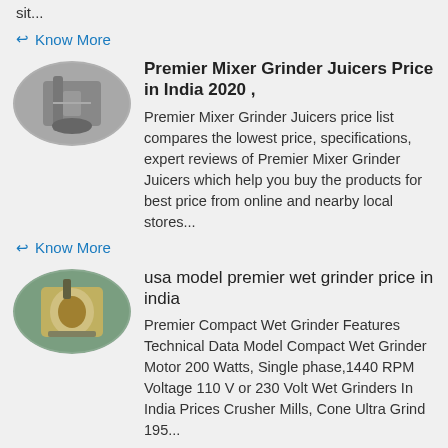sit...
↩ Know More
[Figure (photo): Oval-shaped photo of a mixer grinder in use]
Premier Mixer Grinder Juicers Price in India 2020 ,
Premier Mixer Grinder Juicers price list compares the lowest price, specifications, expert reviews of Premier Mixer Grinder Juicers which help you buy the products for best price from online and nearby local stores...
↩ Know More
[Figure (photo): Oval-shaped photo of a premier wet grinder machine]
usa model premier wet grinder price in india
Premier Compact Wet Grinder Features Technical Data Model Compact Wet Grinder Motor 200 Watts, Single phase,1440 RPM Voltage 110 V or 230 Volt Wet Grinders In India Prices Crusher Mills, Cone Ultra Grind 195...